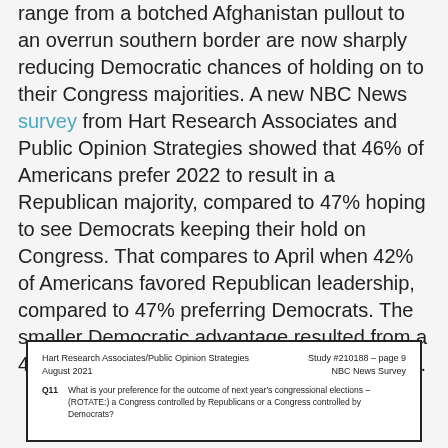The crises in the Democrat-controlled government range from a botched Afghanistan pullout to an overrun southern border are now sharply reducing Democratic chances of holding on to their Congress majorities. A new NBC News survey from Hart Research Associates and Public Opinion Strategies showed that 46% of Americans prefer 2022 to result in a Republican majority, compared to 47% hoping to see Democrats keeping their hold on Congress. That compares to April when 42% of Americans favored Republican leadership, compared to 47% preferring Democrats. The smaller Democratic advantage resulted from a 4%  swing of undecideds toward Republicans.
[Figure (screenshot): Survey document header from Hart Research Associates/Public Opinion Strategies, August 2021, Study #210188 page 9, NBC News Survey. Question Q11: What is your preference for the outcome of next year's congressional elections – (ROTATE:) a Congress controlled by Republicans or a Congress controlled by Democrats?]